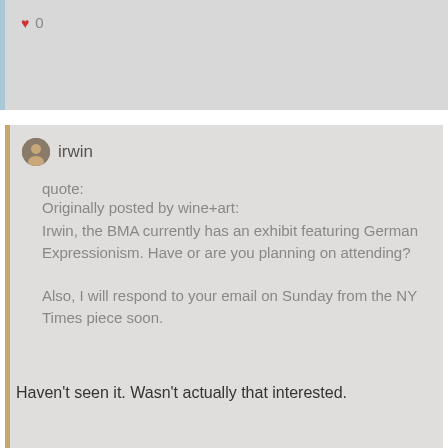♥ 0
irwin
quote:
Originally posted by wine+art:
Irwin, the BMA currently has an exhibit featuring German Expressionism. Have or are you planning on attending?

Also, I will respond to your email on Sunday from the NY Times piece soon.
Haven't seen it. Wasn't actually that interested.